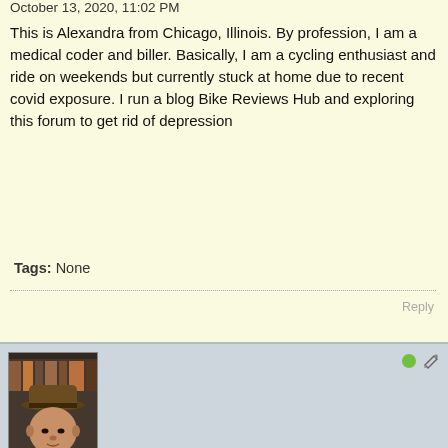October 13, 2020, 11:02 PM
This is Alexandra from Chicago, Illinois. By profession, I am a medical coder and biller. Basically, I am a cycling enthusiast and ride on weekends but currently stuck at home due to recent covid exposure. I run a blog Bike Reviews Hub and exploring this forum to get rid of depression
Tags: None
[Figure (photo): Avatar photo of MBMorgan, a man wearing a brown hat, seated in front of a bookshelf]
MBMorgan
Club Member
Joined: Sep 2015    Posts: 7446
Location: Colorado
October 13, 2020, 11:05 PM
Top | #2
Welcome from Colorado, Alexandra – no depression here in